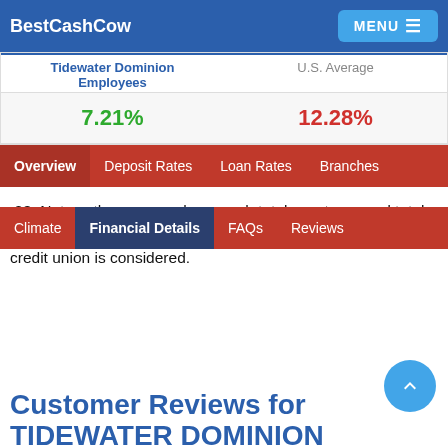BestCashCow  MENU
| Tidewater Dominion Employees | U.S. Average |
| --- | --- |
| 7.21% | 12.28% |
Tidewater Dominion Employees FCU has a net worth of 12.28. Net worth measures how much total assets exceed total liabilities. The higher the net worth number the more secure a credit union is considered.
Customer Reviews for TIDEWATER DOMINION EMPLOYEES
There are currently no comments for TIDEWATER